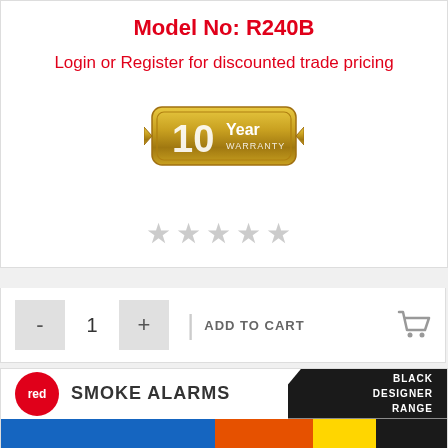Model No: R240B
Login or Register for discounted trade pricing
[Figure (illustration): Gold badge with '10 Year Warranty' text]
[Figure (illustration): Five empty star rating icons]
- 1 + | ADD TO CART
[Figure (logo): Red Smoke Alarms brand banner with black designer range label and colored stripe at bottom]